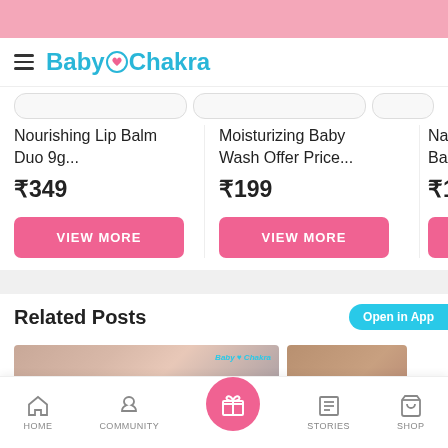BabyChakra
Nourishing Lip Balm Duo 9g... ₹349
Moisturizing Baby Wash Offer Price... ₹199
Natural Str... Baby Sham... ₹199
Related Posts
[Figure (screenshot): BabyChakra mobile app screenshot showing product listings with VIEW MORE buttons and Related Posts section]
HOME | COMMUNITY | (center button) | STORIES | SHOP